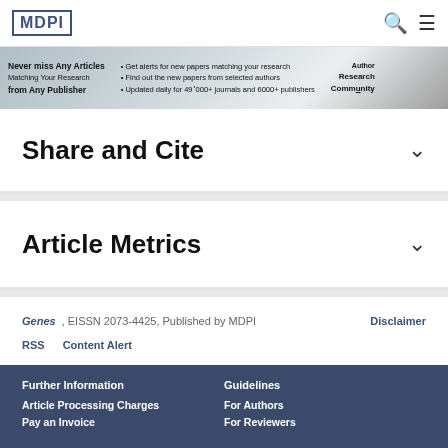MDPI
[Figure (screenshot): Promotional banner for research alerting service: 'Never miss any articles matching your research from Any Publisher. Get alerts for new papers matching your research. Find out the new papers from selected authors. Updated daily for 49000+ journals and 6000+ publishers. Author Research Community.']
Share and Cite
Article Metrics
Genes, EISSN 2073-4425, Published by MDPI   Disclaimer
RSS   Content Alert
Further Information
Guidelines
Article Processing Charges
For Authors
Pay an Invoice
For Reviewers